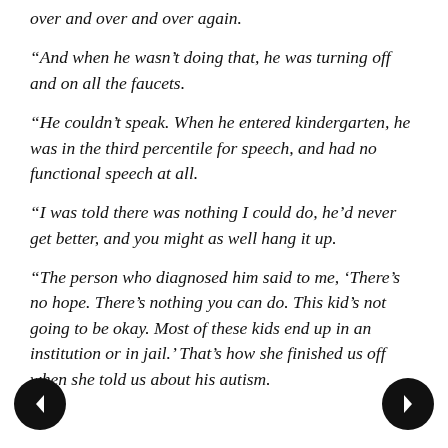over and over and over again.
“And when he wasn’t doing that, he was turning off and on all the faucets.
“He couldn’t speak. When he entered kindergarten, he was in the third percentile for speech, and had no functional speech at all.
“I was told there was nothing I could do, he’d never get better, and you might as well hang it up.
“The person who diagnosed him said to me, ‘There’s no hope. There’s nothing you can do. This kid’s not going to be okay. Most of these kids end up in an institution or in jail.’ That’s how she finished us off when she told us about his autism.